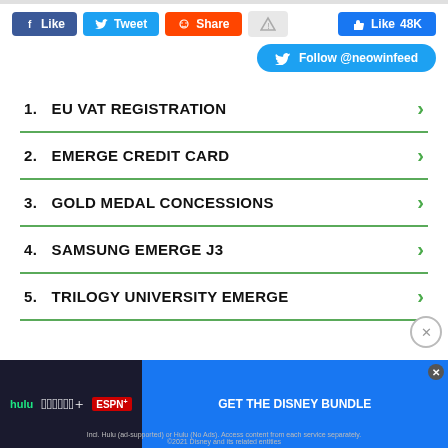[Figure (screenshot): Social media share buttons row: Facebook Like, Twitter Tweet, Reddit Share, warning icon, and Like 48K button]
[Figure (screenshot): Twitter Follow @neowinfeed button]
1. EU VAT REGISTRATION
2. EMERGE CREDIT CARD
3. GOLD MEDAL CONCESSIONS
4. SAMSUNG EMERGE J3
5. TRILOGY UNIVERSITY EMERGE
[Figure (screenshot): Disney Bundle advertisement banner with Hulu, Disney+, ESPN+ logos and GET THE DISNEY BUNDLE call to action]